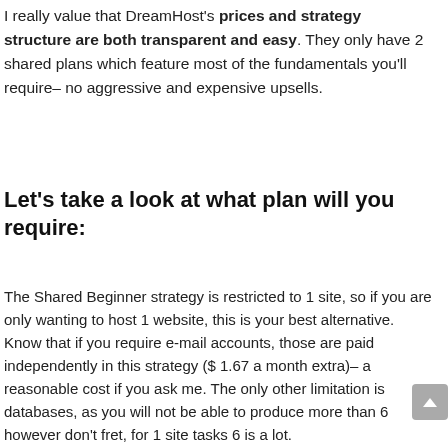I really value that DreamHost's prices and strategy structure are both transparent and easy. They only have 2 shared plans which feature most of the fundamentals you'll require– no aggressive and expensive upsells.
Let's take a look at what plan will you require:
The Shared Beginner strategy is restricted to 1 site, so if you are only wanting to host 1 website, this is your best alternative. Know that if you require e-mail accounts, those are paid independently in this strategy ($ 1.67 a month extra)– a reasonable cost if you ask me. The only other limitation is databases, as you will not be able to produce more than 6 however don't fret, for 1 site tasks 6 is a lot.